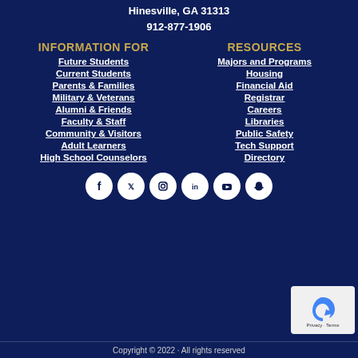Hinesville, GA 31313
912-877-1906
INFORMATION FOR
Future Students
Current Students
Parents & Families
Military & Veterans
Alumni & Friends
Faculty & Staff
Community & Visitors
Adult Learners
High School Counselors
RESOURCES
Majors and Programs
Housing
Financial Aid
Registrar
Careers
Libraries
Public Safety
Tech Support
Directory
[Figure (illustration): Social media icons row: Facebook, Twitter, Instagram, LinkedIn, YouTube, Snapchat]
Copyright © 2022 · All rights reserved